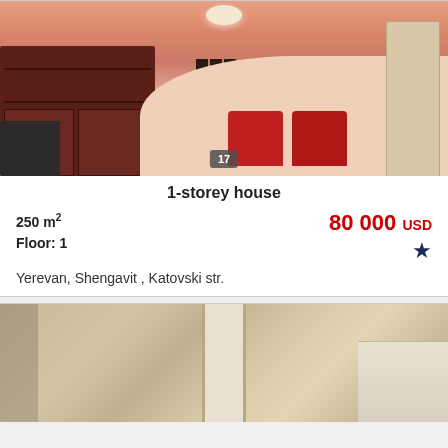[Figure (photo): Interior room photo with salmon/orange walls, dark wood cabinet on left, red chairs center, door on right, ceiling light, number badge '17']
1-storey house
250 m²
Floor: 1
80 000 USD
Yerevan, Shengavit , Katovski str.
[Figure (photo): Interior room photo with bare plaster walls, door frame in middle, pile of materials on right]